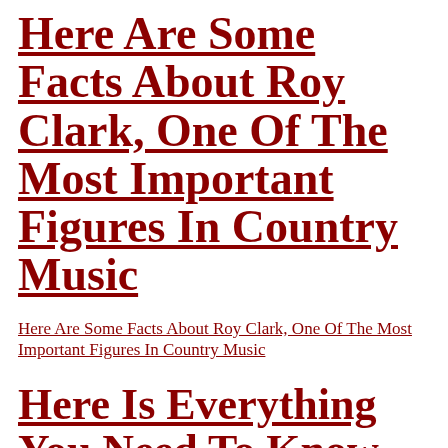Here Are Some Facts About Roy Clark, One Of The Most Important Figures In Country Music
Here Are Some Facts About Roy Clark, One Of The Most Important Figures In Country Music
Here Is Everything You Need To Know About Josh Turner
Here Is Everything You Need To Know About Josh Turner
Top 10 Dark Country